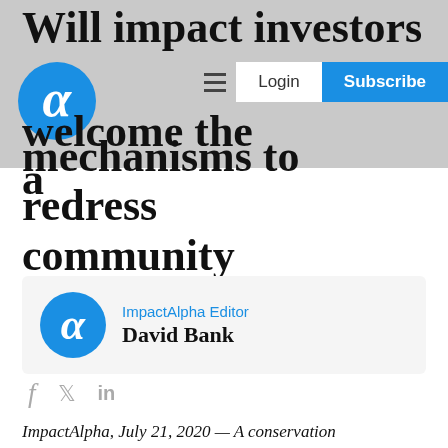Will impact investors welcome the accountability mechanisms to redress community grievances?
mechanisms to redress community grievances?
ImpactAlpha Editor David Bank
f  in
ImpactAlpha, July 21, 2020 — A conservation